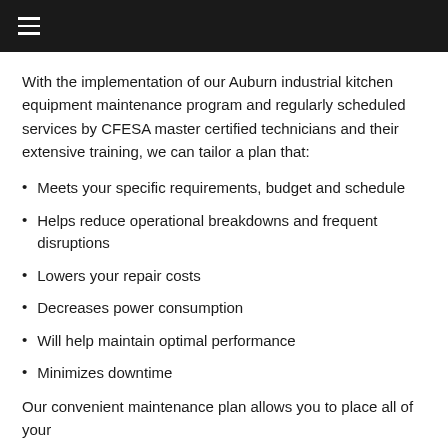≡
With the implementation of our Auburn industrial kitchen equipment maintenance program and regularly scheduled services by CFESA master certified technicians and their extensive training, we can tailor a plan that:
Meets your specific requirements, budget and schedule
Helps reduce operational breakdowns and frequent disruptions
Lowers your repair costs
Decreases power consumption
Will help maintain optimal performance
Minimizes downtime
Our convenient maintenance plan allows you to place all of your